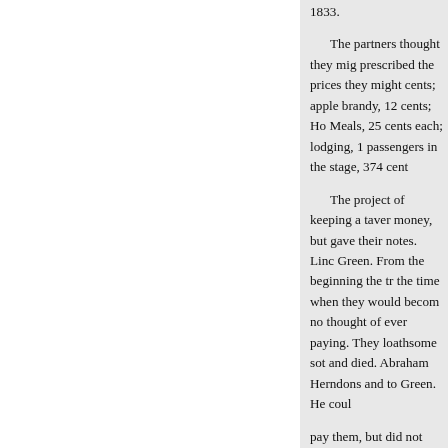1833.
The partners thought they might prescribed the prices they might cents; apple brandy, 12 cents; Ho Meals, 25 cents each; lodging, 1 passengers in the stage, 374 cent
The project of keeping a taver money, but gave their notes. Lin Green. From the beginning the t the time when they would becom no thought of ever paying. They loathsome sot and died. Abraha Herndons and to Green. He coul
pay them, but did not repudiate t would do his best to pay them. Y paid finally, principal and interes been Abraham Lincoln, had he n
The little money he had when was due. He would like to spend axe and went down the hill-side which he carried to a shanty, wh
He was twenty-four years old—